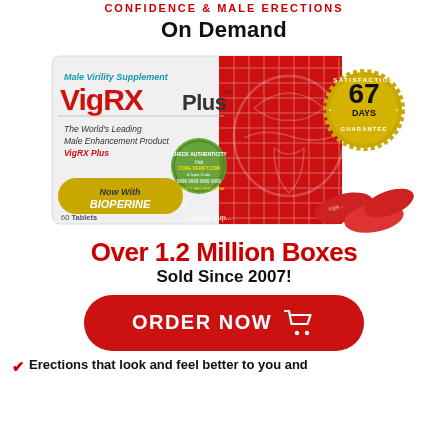On Demand
[Figure (photo): VigRX Plus product box with red and white design, showing Male Virility Supplement label, Now With BIOPERINE badge, satisfaction guarantee seal (67 days), authentication seal, and red capsule pills next to the box.]
Over 1.2 Million Boxes Sold Since 2007!
[Figure (other): Red rounded rectangle ORDER NOW button with shopping cart icon]
Erections that look and feel better to you and